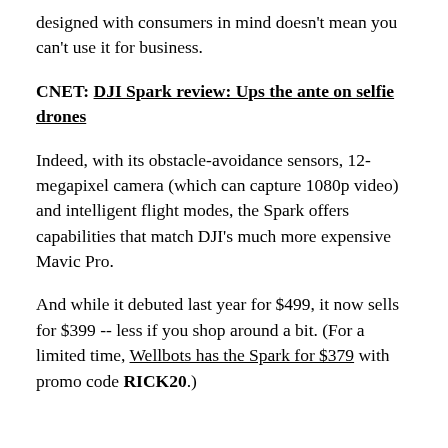designed with consumers in mind doesn't mean you can't use it for business.
CNET: DJI Spark review: Ups the ante on selfie drones
Indeed, with its obstacle-avoidance sensors, 12-megapixel camera (which can capture 1080p video) and intelligent flight modes, the Spark offers capabilities that match DJI's much more expensive Mavic Pro.
And while it debuted last year for $499, it now sells for $399 -- less if you shop around a bit. (For a limited time, Wellbots has the Spark for $379 with promo code RICK20.)